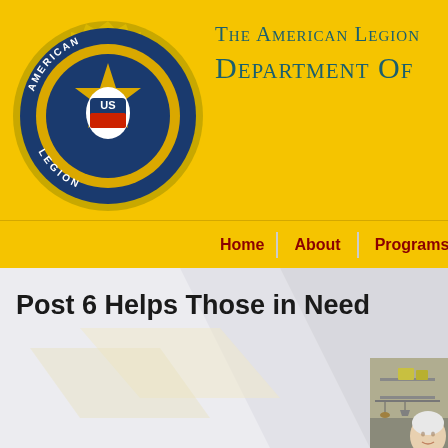The American Legion Department Of
[Figure (logo): American Legion emblem/badge with eagle, star, and US shield, circular gold and blue logo]
Home | About | Programs | Se
Post 6 Helps Those in Need
[Figure (photo): Elderly white-haired woman smiling in a kitchen with metal shelving unit, baking pans, and hanging utensils]